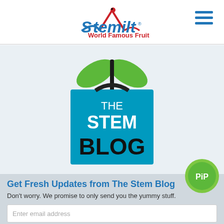[Figure (logo): Stemilt World Famous Fruit logo with red mountain and ladybug, text in blue italic style]
[Figure (logo): The Stem Blog logo: blue square with apple silhouette and green leaves, white text reading THE STEM BLOG]
Get Fresh Updates from The Stem Blog
Don't worry. We promise to only send you the yummy stuff.
[Figure (logo): PiP green circle badge with white text PiP]
Enter email address